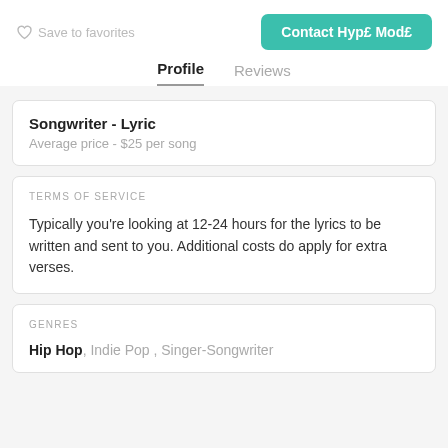Save to favorites
Contact Hyp£ Mod£
Profile
Reviews
Songwriter - Lyric
Average price - $25 per song
TERMS OF SERVICE
Typically you're looking at 12-24 hours for the lyrics to be written and sent to you. Additional costs do apply for extra verses.
GENRES
Hip Hop, Indie Pop, Singer-Songwriter